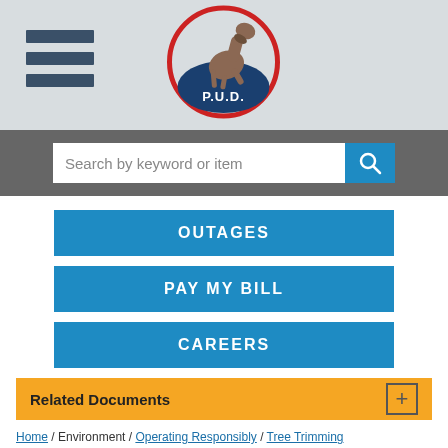[Figure (logo): P.U.D. logo — a rearing horse silhouette inside a red circle over a blue semicircle with 'P.U.D.' text]
[Figure (screenshot): Search bar with placeholder text 'Search by keyword or item' and blue search button]
OUTAGES
PAY MY BILL
CAREERS
Related Documents
Home / Environment / Operating Responsibly / Tree Trimming
Tree Trimming